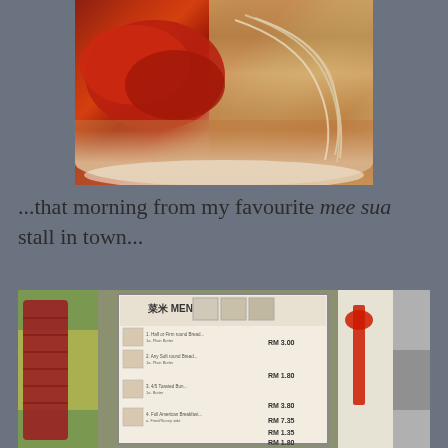[Figure (photo): Close-up photo of a bowl of mee sua (noodle soup) with red-colored toppings (possibly red fermented tofu or meat) in a brown broth, with white/cream noodles on the right side, in a white bowl]
...that morning from my favourite mee sua stall in town...
[Figure (photo): Photo of a food stall with a menu board displaying '菜米 MENU' with various items and prices in RM (Ringgit Malaysia), with red plates stacked on the left, red ribbon decoration on the right, and outdoor market setting in background]